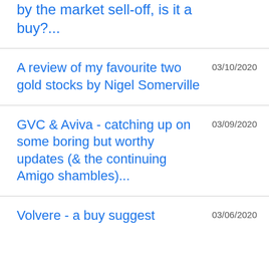by the market sell-off, is it a buy?...
A review of my favourite two gold stocks by Nigel Somerville
GVC & Aviva - catching up on some boring but worthy updates (& the continuing Amigo shambles)...
Volvere - a buy suggest